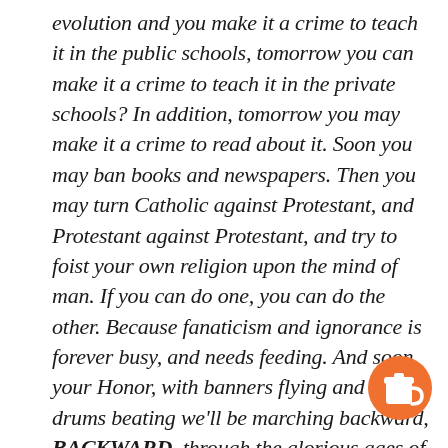evolution and you make it a crime to teach it in the public schools, tomorrow you can make it a crime to teach it in the private schools? In addition, tomorrow you may make it a crime to read about it. Soon you may ban books and newspapers. Then you may turn Catholic against Protestant, and Protestant against Protestant, and try to foist your own religion upon the mind of man. If you can do one, you can do the other. Because fanaticism and ignorance is forever busy, and needs feeding. And soon, your Honor, with banners flying and with drums beating we'll be marching backward, BACKWARD, through the glorious ages of that Sixteenth Century when bigots burned the man who dared bring enlightenment and intelligence to the
[Figure (illustration): Orange circular badge with a coffee cup icon in white]